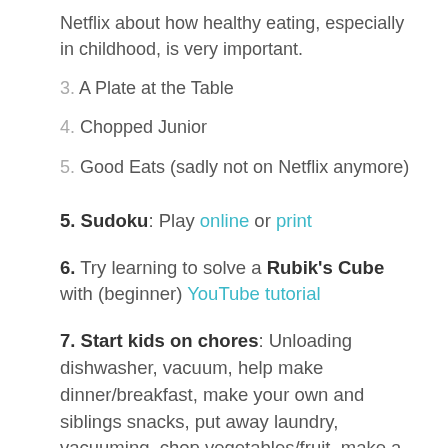Netflix about how healthy eating, especially in childhood, is very important.
3. A Plate at the Table
4. Chopped Junior
5. Good Eats (sadly not on Netflix anymore)
5. Sudoku: Play online or print
6. Try learning to solve a Rubik's Cube with (beginner) YouTube tutorial
7. Start kids on chores: Unloading dishwasher, vacuum, help make dinner/breakfast, make your own and siblings snacks, put away laundry, vacuuming, chop vegetables/fruit, make a salad.